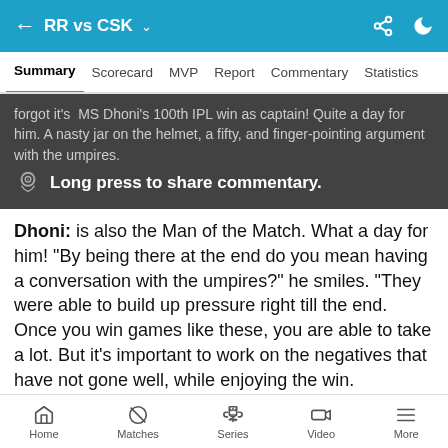RR vs CSK
Summary  Scorecard  MVP  Report  Commentary  Statistics
forgot it's MS Dhoni's 100th IPL win as captain! Quite a day for him. A nasty jar on the helmet, a fifty, and finger-pointing argument with the umpires.
Dhoni: is also the Man of the Match. What a day for him! "By being there at the end do you mean having a conversation with the umpires?" he smiles. "They were able to build up pressure right till the end. Once you win games like these, you are able to take a lot. But it's important to work on the negatives that have not gone well, while enjoying the win. Otherwise it can come back to hurt us later in the tournament. The outfield is big and fast. The ball was coming on nicely in the second half. In the last two overs, I felt we had to get two hits. If the wicket is not good, then it becomes slow. At the end of the day, individuals commit mistakes but the team has to take the blame if you have lost. It's
Home  Matches  Series  Video  More